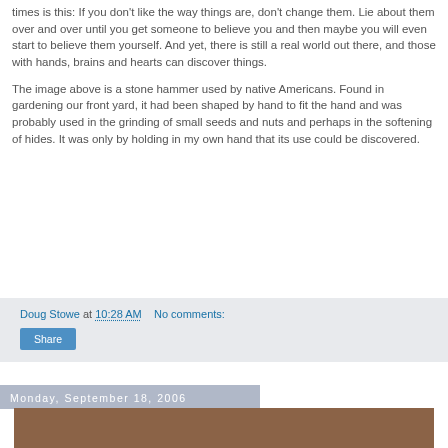times is this: If you don't like the way things are, don't change them. Lie about them over and over until you get someone to believe you and then maybe you will even start to believe them yourself. And yet, there is still a real world out there, and those with hands, brains and hearts can discover things.
The image above is a stone hammer used by native Americans. Found in gardening our front yard, it had been shaped by hand to fit the hand and was probably used in the grinding of small seeds and nuts and perhaps in the softening of hides. It was only by holding in my own hand that its use could be discovered.
Doug Stowe at 10:28 AM   No comments:
Share
Monday, September 18, 2006
[Figure (photo): Bottom portion of a photo, brown/wood tones visible]